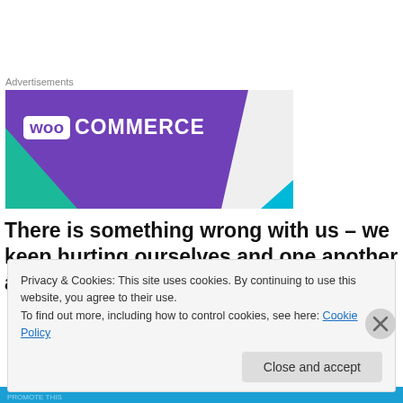Advertisements
[Figure (logo): WooCommerce advertisement banner with purple background, white WooCommerce logo text, green triangle bottom-left, blue triangle bottom-right, on light grey background]
There is something wrong with us – we keep hurting ourselves and one another all while God is in the
Privacy & Cookies: This site uses cookies. By continuing to use this website, you agree to their use. To find out more, including how to control cookies, see here: Cookie Policy
Close and accept